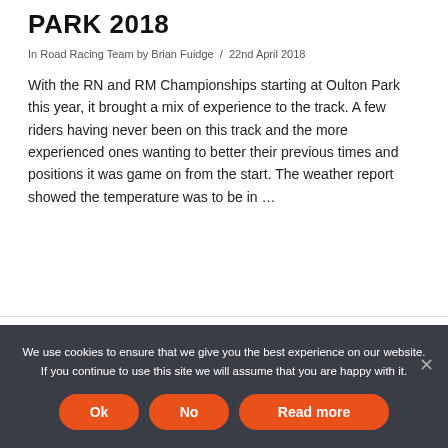PARK 2018
In Road Racing Team by Brian Fuidge / 22nd April 2018
With the RN and RM Championships starting at Oulton Park this year, it brought a mix of experience to the track. A few riders having never been on this track and the more experienced ones wanting to better their previous times and positions it was game on from the start. The weather report showed the temperature was to be in …
We use cookies to ensure that we give you the best experience on our website. If you continue to use this site we will assume that you are happy with it.